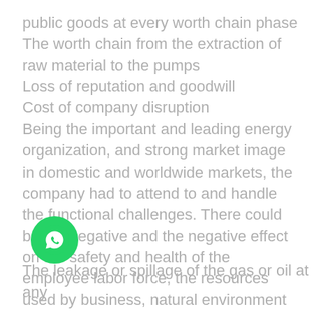public goods at every worth chain phase
The worth chain from the extraction of raw material to the pumps
Loss of reputation and goodwill
Cost of company disruption
Being the important and leading energy organization, and strong market image in domestic and worldwide markets, the company had to attend to and handle the functional challenges. There could be the negative and the negative effect on the safety and health of the employee labor force, the resources used by business, natural environment in addition to the monetary performance and viability of business since of the improper handling of the oil while in the production procedure.
The leakage or spillage of the gas or oil at any
[Figure (other): WhatsApp floating action button (green circle with phone handset icon)]
Please wait